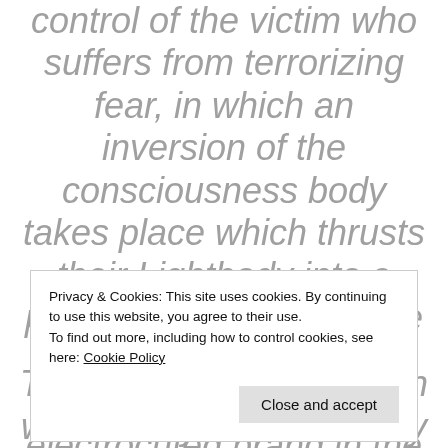control of the victim who suffers from terrorizing fear, in which an inversion of the consciousness body takes place which thrusts their Lightbody into a past timeline somewhere in phantom 3D realms. This is like an electrocuted brand in the person's head and crown, identifying them through this brand
Privacy & Cookies: This site uses cookies. By continuing to use this website, you agree to their use.
To find out more, including how to control cookies, see here: Cookie Policy
The Baphomet Deception was mainly carried out by